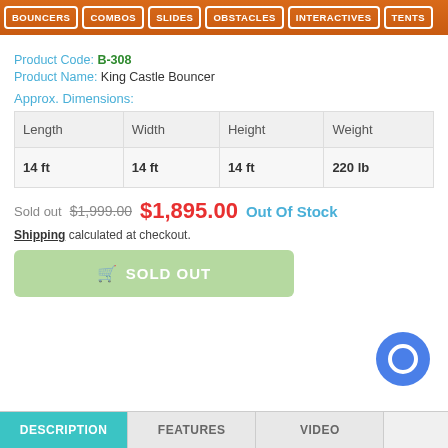BOUNCERS | COMBOS | SLIDES | OBSTACLES | INTERACTIVES | TENTS
Product Code: B-308
Product Name: King Castle Bouncer
Approx. Dimensions:
| Length | Width | Height | Weight |
| --- | --- | --- | --- |
| 14 ft | 14 ft | 14 ft | 220 lb |
Sold out  $1,999.00  $1,895.00  Out Of Stock
Shipping calculated at checkout.
🛒 SOLD OUT
DESCRIPTION | FEATURES | VIDEO